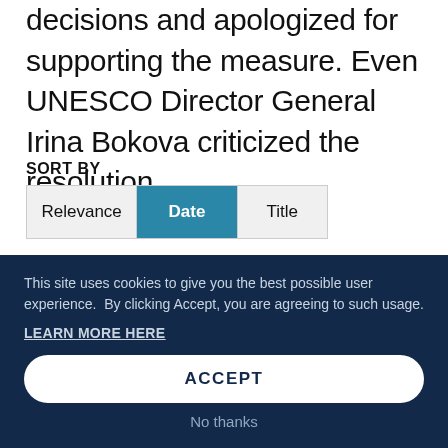decisions and apologized for supporting the measure. Even UNESCO Director General Irina Bokova criticized the resolution.
SORT BY
[Figure (screenshot): Sort by toggle buttons: Relevance (grey), Date (teal/selected), Title (grey)]
FILTER BY
Analysis (71)
This site uses cookies to give you the best possible user experience.  By clicking Accept, you are agreeing to such usage.
LEARN MORE HERE
ACCEPT
No thanks